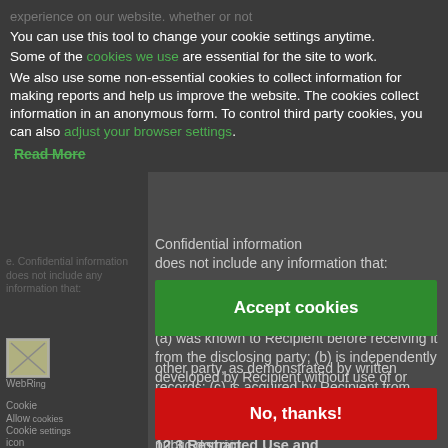experience on our website. whether or not You can use this tool to change your cookie settings anytime. Some of the cookies we use are essential for the site to work. We also use some non-essential cookies to collect information for making reports and help us improve the website. The cookies collect information in an anonymous form. To control third party cookies, you can also adjust your browser settings. Read More
Confidential information does not include any information that:
(a) was known to Recipient before receiving it from the disclosing party; (b) is independently developed by Recipient without use of or reference to other party, as demonstrated by written records; (c) is acquired by Recipient from another source that did not receive it in confidence; or (d) is or becomes part of the public domain
[Figure (screenshot): Cookie settings icon/logo placeholder]
WebRing
Cookie
Allow cookies
Cookie settings
icon
Accept cookies
No, thanks!
12.3 Restricted Use and